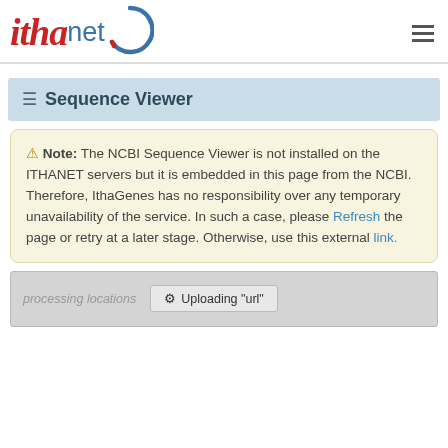[Figure (logo): ITHANET logo with red italic 'itha' text, blue 'net' text, and a partial blue/red circle arc graphic]
≡ Sequence Viewer
⚠ Note: The NCBI Sequence Viewer is not installed on the ITHANET servers but it is embedded in this page from the NCBI. Therefore, IthaGenes has no responsibility over any temporary unavailability of the service. In such a case, please Refresh the page or retry at a later stage. Otherwise, use this external link.
processing locations   Uploading "url"